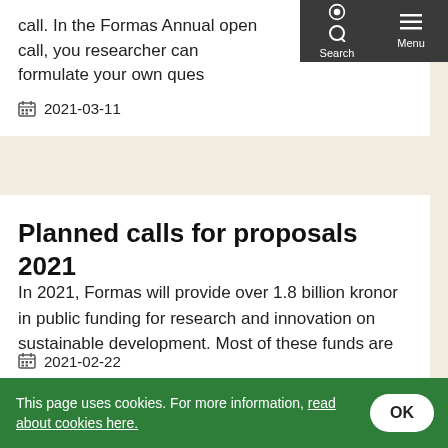call. In the Formas Annual open call, you researcher can formulate your own ques
2021-03-11
Planned calls for proposals 2021
In 2021, Formas will provide over 1.8 billion kronor in public funding for research and innovation on sustainable development. Most of these funds are awarded t...
2021-02-22
[Figure (photo): Partial image visible at bottom of page, grey sky background with a dark circular element]
This page uses cookies. For more information, read about cookies here. OK